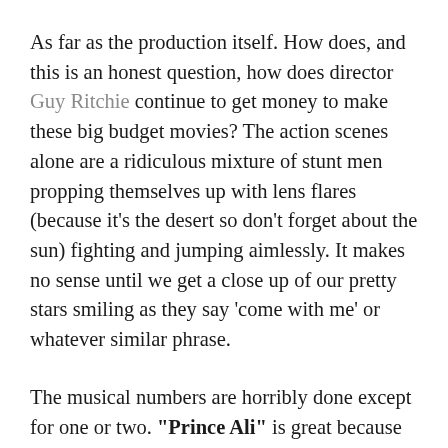As far as the production itself. How does, and this is an honest question, how does director Guy Ritchie continue to get money to make these big budget movies? The action scenes alone are a ridiculous mixture of stunt men propping themselves up with lens flares (because it's the desert so don't forget about the sun) fighting and jumping aimlessly. It makes no sense until we get a close up of our pretty stars smiling as they say 'come with me' or whatever similar phrase.
The musical numbers are horribly done except for one or two. “Prince Ali” is great because of Will Smith’s fresh feel to the character. The new song “Speechless” is an excellent addition about being a free woman but my god is it shot poorly. Let the actress sing instead of